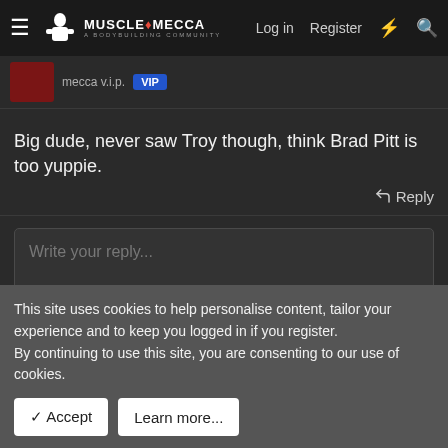MuscleMecca — Log in | Register
mecca v.i.p. VIP
Big dude, never saw Troy though, think Brad Pitt is too yuppie.
Reply
Write your reply...
Post reply
This site uses cookies to help personalise content, tailor your experience and to keep you logged in if you register.
By continuing to use this site, you are consenting to our use of cookies.
Accept
Learn more...